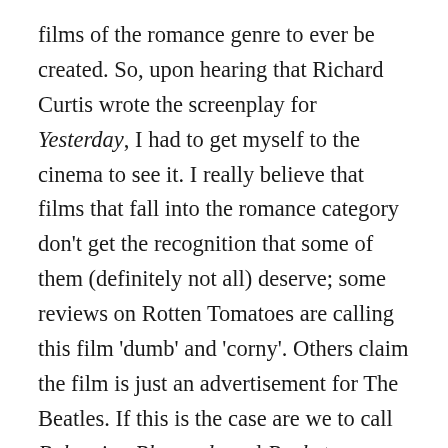films of the romance genre to ever be created. So, upon hearing that Richard Curtis wrote the screenplay for Yesterday, I had to get myself to the cinema to see it. I really believe that films that fall into the romance category don't get the recognition that some of them (definitely not all) deserve; some reviews on Rotten Tomatoes are calling this film 'dumb' and 'corny'. Others claim the film is just an advertisement for The Beatles. If this is the case are we to call Bohemian Rhapsody and Rocketman advertisements for Queen and Elton John? Maybe they're right, but they are brilliant, entertaining movies with an incredible soundtrack. Yesterday, containing The Beatles music, has a soundtrack just as good. However, I cannot help but compare